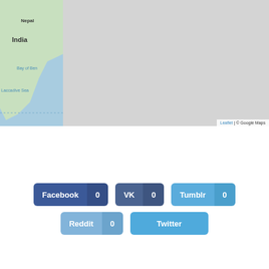[Figure (map): Partial map showing India, Nepal, Bay of Bengal, and Laccadive Sea with Leaflet/Google Maps attribution]
Find My Location
Facebook 0  VK 0  Tumblr 0  Reddit 0  Twitter
Leaflet | © Google Maps